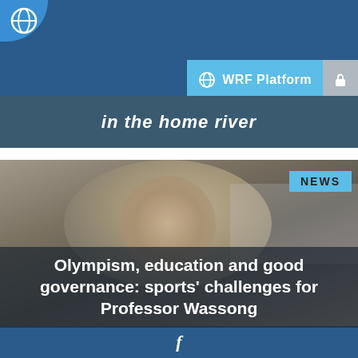[Figure (screenshot): Website screenshot showing WRF Platform navigation bar with globe icon and lock icon on blue background]
in the home river
[Figure (photo): Photo of a middle-aged man with grey hair looking upward, with a crowd in white clothing in background. NEWS badge in top right corner.]
Olympism, education and good governance: sports' challenges for Professor Wassong
f